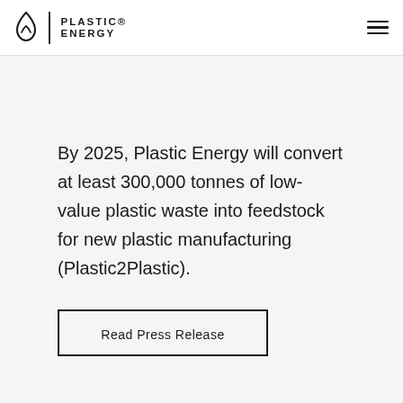Plastic Energy
By 2025, Plastic Energy will convert at least 300,000 tonnes of low-value plastic waste into feedstock for new plastic manufacturing (Plastic2Plastic).
Read Press Release